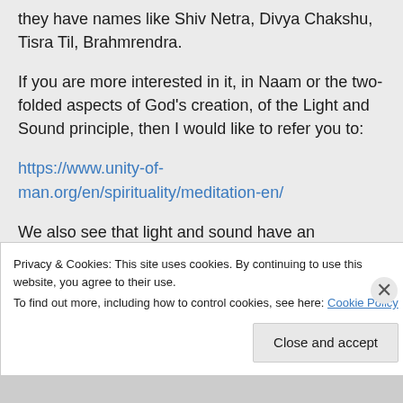they have names like Shiv Netra, Divya Chakshu, Tisra Til, Brahmrendra.
If you are more interested in it, in Naam or the two-folded aspects of God's creation, of the Light and Sound principle, then I would like to refer you to:
https://www.unity-of-man.org/en/spirituality/meditation-en/
We also see that light and sound have an
Privacy & Cookies: This site uses cookies. By continuing to use this website, you agree to their use.
To find out more, including how to control cookies, see here: Cookie Policy
Close and accept